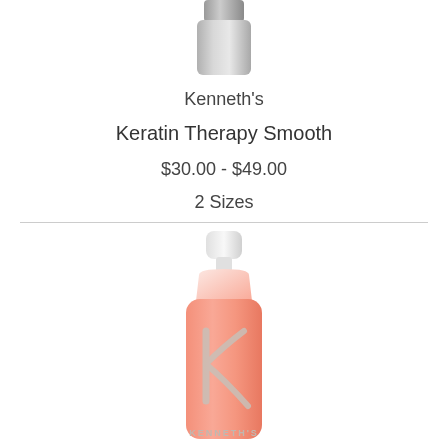[Figure (photo): Small silver/gray shampoo or conditioner bottle, top portion only visible, silver cap at top]
Kenneth's
Keratin Therapy Smooth
$30.00 - $49.00
2 Sizes
[Figure (photo): Salmon/coral pink bottle with white pump cap, Kenneth's brand logo with stylized K in silver, KENNETH'S text at bottom of bottle]